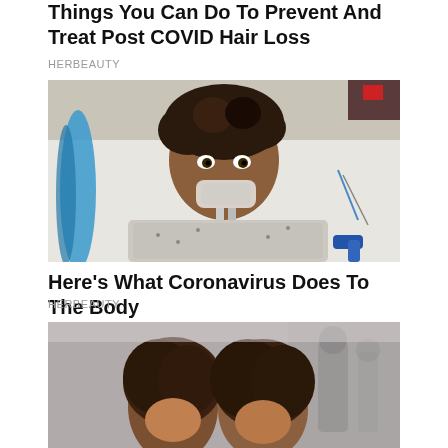Things You Can Do To Prevent And Treat Post COVID Hair Loss
HERBEAUTY
[Figure (photo): A woman lying in a hospital bed with a ventilator/breathing tube attached, wearing a hospital gown, with medical tubing visible around her.]
Here's What Coronavirus Does To The Body
HERBEAUTY
[Figure (photo): A blurred image showing mannequin heads with hair wigs in what appears to be a salon or hair product setting.]